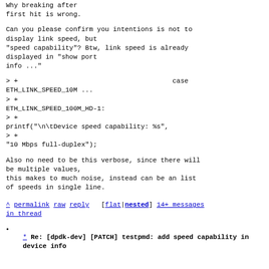Why breaking after
first hit is wrong.
Can you please confirm you intentions is not to display link speed, but
"speed capability"? Btw, link speed is already displayed in "show port
info ..."
> +                                       case ETH_LINK_SPEED_10M ...
> +
ETH_LINK_SPEED_100M_HD-1:
> +
printf("\n\tDevice speed capability: %s",
> +
"10 Mbps full-duplex");
Also no need to be this verbose, since there will be multiple values,
this makes to much noise, instead can be an list of speeds in single line.
^ permalink raw reply   [flat|nested] 14+ messages in thread
* Re: [dpdk-dev] [PATCH] testpmd: add speed capability in device info